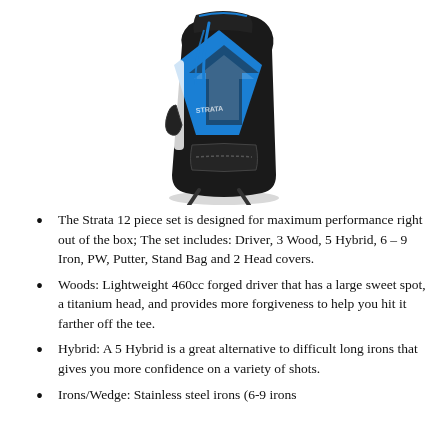[Figure (photo): Black and blue Strata golf stand bag with white accents, shown from a slight angle. The bag features a large blue diamond/arrow graphic panel, multiple pockets, and the Strata branded logo in white.]
The Strata 12 piece set is designed for maximum performance right out of the box; The set includes: Driver, 3 Wood, 5 Hybrid, 6 – 9 Iron, PW, Putter, Stand Bag and 2 Head covers.
Woods: Lightweight 460cc forged driver that has a large sweet spot, a titanium head, and provides more forgiveness to help you hit it farther off the tee.
Hybrid: A 5 Hybrid is a great alternative to difficult long irons that gives you more confidence on a variety of shots.
Irons/Wedge: Stainless steel irons (6-9 irons